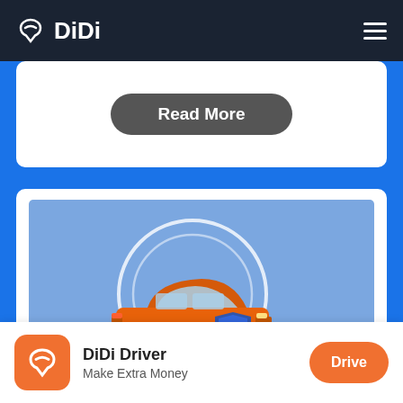DiDi
[Figure (screenshot): DiDi app mobile website screenshot showing Read More button, car insurance illustration with orange car and blue shield, and app download bar with DiDi Driver / Make Extra Money / Drive button]
Read More
DiDi Driver
Make Extra Money
Drive